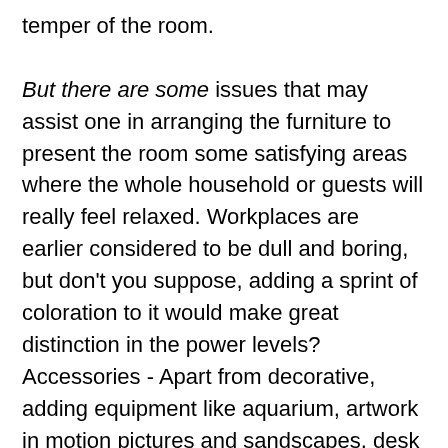temper of the room.

But there are some issues that may assist one in arranging the furniture to present the room some satisfying areas where the whole household or guests will really feel relaxed. Workplaces are earlier considered to be dull and boring, but don't you suppose, adding a sprint of coloration to it would make great distinction in the power levels? Accessories - Apart from decorative, adding equipment like aquarium, artwork in motion pictures and sandscapes, desk gong for executives, inanimate stickers, floating magical photos, valencia pointe apartments miami dancing hamsters and other funny accessories can be found too. Another means of adding colours to the office is using wallpapers; a minimum of one wall in every room can be covered with a vivid colored wallpaper to change the general appearance of the room.